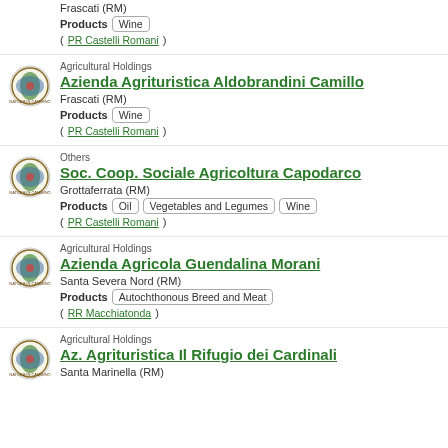Frascati (RM)
Products  Wine
(PR Castelli Romani)
Agricultural Holdings
Azienda Agrituristica Aldobrandini Camillo
Frascati (RM)
Products  Wine
(PR Castelli Romani)
Others
Soc. Coop. Sociale Agricoltura Capodarco
Grottaferrata (RM)
Products  Oil  Vegetables and Legumes  Wine
(PR Castelli Romani)
Agricultural Holdings
Azienda Agricola Guendalina Morani
Santa Severa Nord (RM)
Products  Autochthonous Breed and Meat
(RR Macchiatonda)
Agricultural Holdings
Az. Agrituristica Il Rifugio dei Cardinali
Santa Marinella (RM)